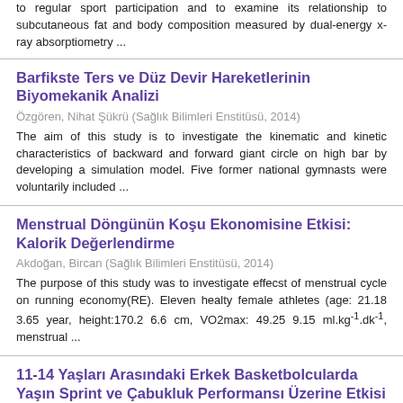to regular sport participation and to examine its relationship to subcutaneous fat and body composition measured by dual-energy x-ray absorptiometry ...
Barfikste Ters ve Düz Devir Hareketlerinin Biyomekanik Analizi
Özgören, Nihat Şükrü (Sağlık Bilimleri Enstitüsü, 2014)
The aim of this study is to investigate the kinematic and kinetic characteristics of backward and forward giant circle on high bar by developing a simulation model. Five former national gymnasts were voluntarily included ...
Menstrual Döngünün Koşu Ekonomisine Etkisi: Kalorik Değerlendirme
Akdoğan, Bircan (Sağlık Bilimleri Enstitüsü, 2014)
The purpose of this study was to investigate effecst of menstrual cycle on running economy(RE). Eleven healty female athletes (age: 21.18 3.65 year, height:170.2 6.6 cm, VO2max: 49.25 9.15 ml.kg⁻¹.dk⁻¹, menstrual ...
11-14 Yaşları Arasındaki Erkek Basketbolcularda Yaşın Sprint ve Çabukluk Performansı Üzerine Etkisi